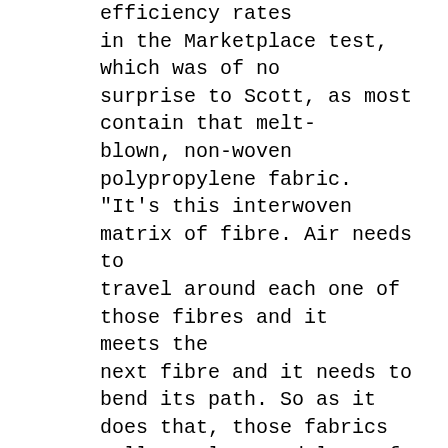efficiency rates in the Marketplace test, which was of no surprise to Scott, as most contain that melt-blown, non-woven polypropylene fabric. "It's this interwoven matrix of fibre. Air needs to travel around each one of those fibres and it meets the next fibre and it needs to bend its path. So as it does that, those fabrics pull out lots and lots of particles," said James Scott, (a professor from the University of Toronto's Dalla Lana School of Public Health. Scott is a specialist in bioaerosols and runs the lab where Marketplace's tests were run.) “Two-ply and three-ply cotton masks Marketplace also tested a number of cotton masks, including a two-layer, 100 per cent